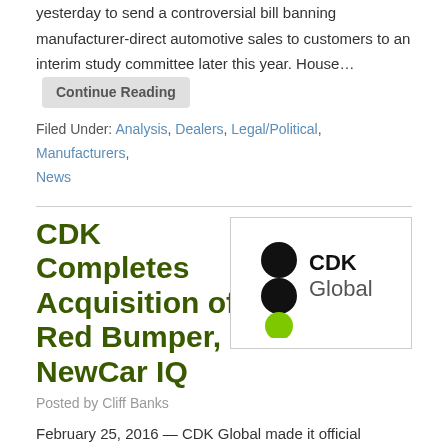yesterday to send a controversial bill banning manufacturer-direct automotive sales to customers to an interim study committee later this year. House… Continue Reading
Filed Under: Analysis, Dealers, Legal/Political, Manufacturers, News
CDK Completes Acquisition of Red Bumper, NewCar IQ
Posted by Cliff Banks
[Figure (logo): CDK Global logo with three circles (two black, one green) and text 'CDK Global']
February 25, 2016 — CDK Global made it official yesterday announcing it has acquired the product portfolios of NewCar IQ and Red Bumper from Pearl Technology Holdings LLC. NewCar IQ is a new vehicle inventory management system while Red Bumper helps dealers manage their used vehicle inventories. CDK will combine the two products to create a solution